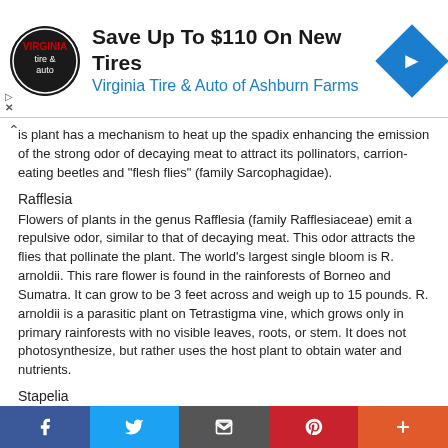[Figure (logo): Advertisement banner: Save Up To $110 On New Tires, Virginia Tire & Auto of Ashburn Farms]
is plant has a mechanism to heat up the spadix enhancing the emission of the strong odor of decaying meat to attract its pollinators, carrion-eating beetles and "flesh flies" (family Sarcophagidae).
Rafflesia
Flowers of plants in the genus Rafflesia (family Rafflesiaceae) emit a repulsive odor, similar to that of decaying meat. This odor attracts the flies that pollinate the plant. The world's largest single bloom is R. arnoldii. This rare flower is found in the rainforests of Borneo and Sumatra. It can grow to be 3 feet across and weigh up to 15 pounds. R. arnoldii is a parasitic plant on Tetrastigma vine, which grows only in primary rainforests with no visible leaves, roots, or stem. It does not photosynthesize, but rather uses the host plant to obtain water and nutrients.
Stapelia
Plants in the genus Stapelia are also called "carrion flowers". They are small, spineless, cactus-like succulent plants. Most species are native to
Facebook | Twitter | Email | Pinterest | More